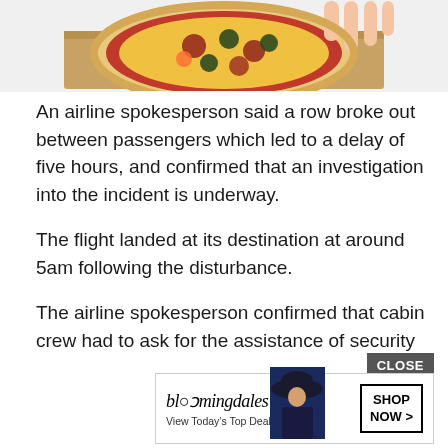[Figure (photo): Partial photo of a pizza on a wooden board, cropped at top]
An airline spokesperson said a row broke out between passengers which led to a delay of five hours, and confirmed that an investigation into the incident is underway.
The flight landed at its destination at around 5am following the disturbance.
The airline spokesperson confirmed that cabin crew had to ask for the assistance of security teams to calm down tensions before the plane eventually took off.
Airline spokesman Ghassen Ouji said: ‘This fight caused a delay of five hours and financial losses were suffered by the company.’
The inv
[Figure (screenshot): Bloomingdale's advertisement banner with CLOSE button. Shows Bloomingdale's logo, 'View Today's Top Deals!' text, a model in a hat, and a SHOP NOW > button.]